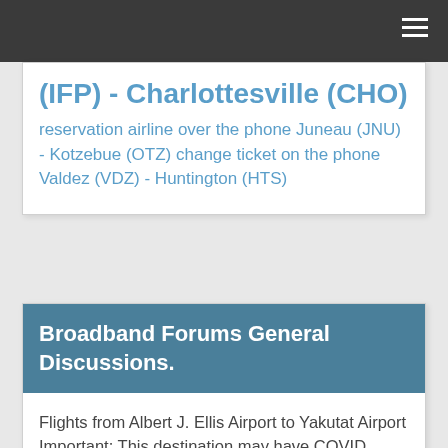(IFP) - Charlottesville (CHO)
reservation airline over the phone Juneau (JNU) - Kotzebue (OTZ) change ticket on the phone Valdez (VDZ) - Huntington (HTS)
Broadband Forums General Discussions.
Flights from Albert J. Ellis Airport to Yakutat Airport Important: This destination may have COVID travel restrictions in place, including specific restrictions